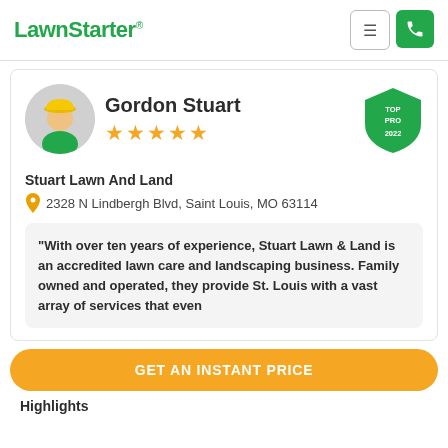LawnStarter
Gordon Stuart
★★★★★
[Figure (logo): TOP PRO 2022 green shield badge]
Stuart Lawn And Land
2328 N Lindbergh Blvd, Saint Louis, MO 63114
"With over ten years of experience, Stuart Lawn & Land is an accredited lawn care and landscaping business. Family owned and operated, they provide St. Louis with a vast array of services that even include..."
GET AN INSTANT PRICE
Highlights